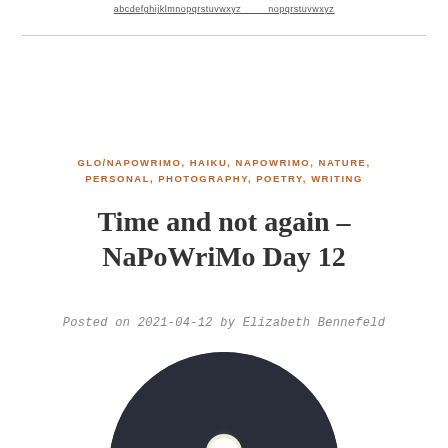GLO/NAPOWRIMO, HAIKU, NAPOWRIMO, NATURE, PERSONAL, PHOTOGRAPHY, POETRY, WRITING
Time and not again – NaPoWriMo Day 12
Posted on 2021-04-12 by Elizabeth Bennefeld
[Figure (photo): Circular cropped photograph of a moonlit night sky with clouds and silhouetted trees, rendered in dark blue-grey tones with a bright glowing moon]